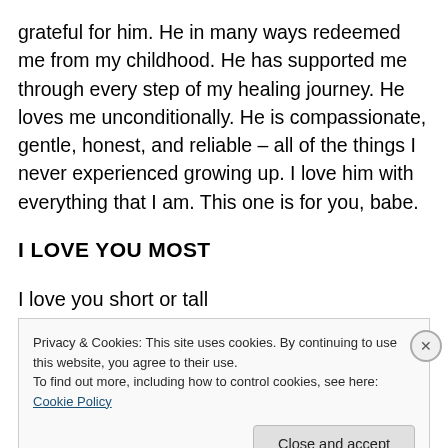grateful for him. He in many ways redeemed me from my childhood. He has supported me through every step of my healing journey. He loves me unconditionally. He is compassionate, gentle, honest, and reliable – all of the things I never experienced growing up. I love him with everything that I am. This one is for you, babe.
I LOVE YOU MOST
I love you short or tall
Privacy & Cookies: This site uses cookies. By continuing to use this website, you agree to their use.
To find out more, including how to control cookies, see here: Cookie Policy
Close and accept